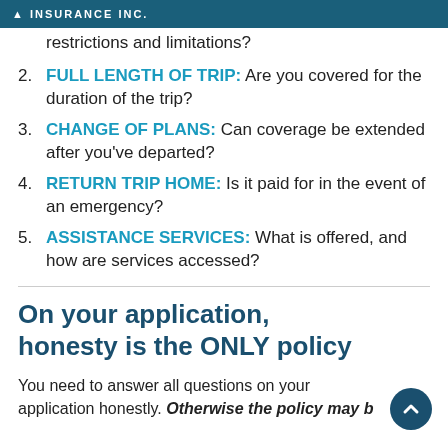INSURANCE INC.
restrictions and limitations?
FULL LENGTH OF TRIP: Are you covered for the duration of the trip?
CHANGE OF PLANS: Can coverage be extended after you've departed?
RETURN TRIP HOME: Is it paid for in the event of an emergency?
ASSISTANCE SERVICES: What is offered, and how are services accessed?
On your application, honesty is the ONLY policy
You need to answer all questions on your application honestly. Otherwise the policy may be